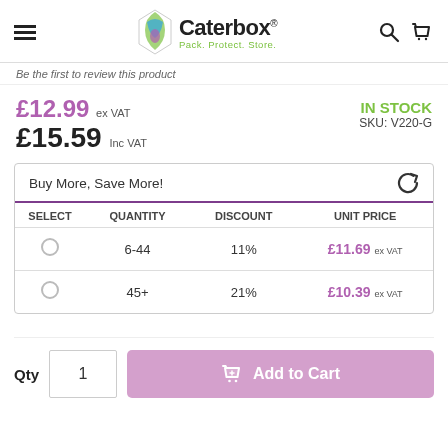Caterbox® — Pack. Protect. Store.
Be the first to review this product
£12.99 ex VAT / £15.59 Inc VAT
IN STOCK — SKU: V220-G
| SELECT | QUANTITY | DISCOUNT | UNIT PRICE |
| --- | --- | --- | --- |
| ○ | 6-44 | 11% | £11.69 ex VAT |
| ○ | 45+ | 21% | £10.39 ex VAT |
Qty  1   Add to Cart